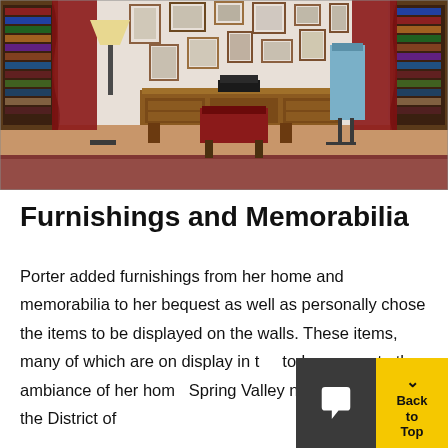[Figure (photo): Interior room photo showing a wooden desk with a typewriter, bookcases on both sides, red curtains, framed pictures on the wall, a floor lamp, and a blue dress/suit on a mannequin on the right.]
Furnishings and Memorabilia
Porter added furnishings from her home and memorabilia to her bequest as well as personally chose the items to be displayed on the walls. These items, many of which are on display in the today, recreate the ambiance of her home Spring Valley neighborhood of the District of